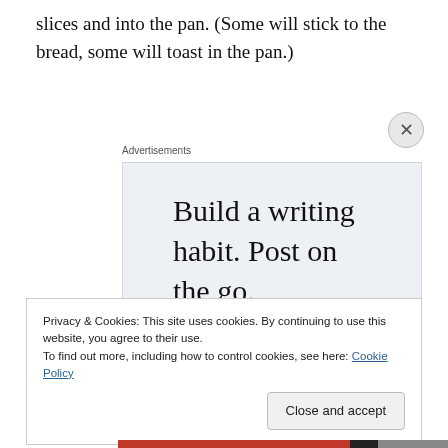slices and into the pan. (Some will stick to the bread, some will toast in the pan.)
Advertisements
[Figure (other): WordPress app advertisement with text 'Build a writing habit. Post on the go.' and a GET THE APP button with WordPress logo]
Privacy & Cookies: This site uses cookies. By continuing to use this website, you agree to their use.
To find out more, including how to control cookies, see here: Cookie Policy